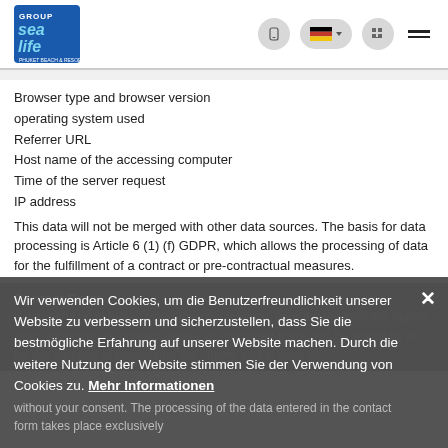Sea Life logo and navigation header
Browser type and browser version
operating system used
Referrer URL
Host name of the accessing computer
Time of the server request
IP address
This data will not be merged with other data sources. The basis for data processing is Article 6 (1) (f) GDPR, which allows the processing of data for the fulfillment of a contract or pre-contractual measures.
Contact Form
If you send us inquiries using the contact form, your details from the inquiry form, including the contact details you provided there, will be stored by us for the purpose of processing the inquiry and in case of follow-up questions without your consent. The processing of the data entered in the contact form takes place exclusively
Wir verwenden Cookies, um die Benutzerfreundlichkeit unserer Website zu verbessern und sicherzustellen, dass Sie die bestmögliche Erfahrung auf unserer Website machen. Durch die weitere Nutzung der Website stimmen Sie der Verwendung von Cookies zu. Mehr Informationen